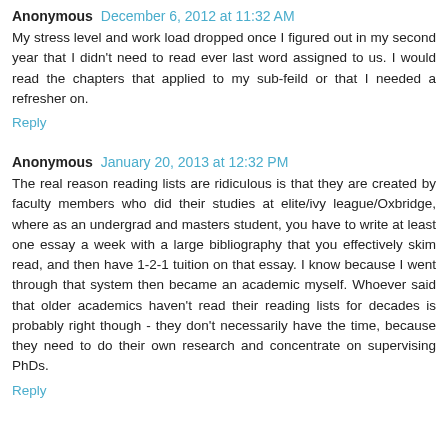Anonymous  December 6, 2012 at 11:32 AM
My stress level and work load dropped once I figured out in my second year that I didn't need to read ever last word assigned to us. I would read the chapters that applied to my sub-feild or that I needed a refresher on.
Reply
Anonymous  January 20, 2013 at 12:32 PM
The real reason reading lists are ridiculous is that they are created by faculty members who did their studies at elite/ivy league/Oxbridge, where as an undergrad and masters student, you have to write at least one essay a week with a large bibliography that you effectively skim read, and then have 1-2-1 tuition on that essay. I know because I went through that system then became an academic myself. Whoever said that older academics haven't read their reading lists for decades is probably right though - they don't necessarily have the time, because they need to do their own research and concentrate on supervising PhDs.
Reply